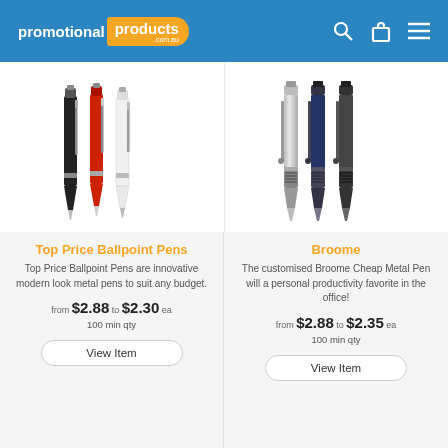promotional products .com.au
[Figure (photo): Three ballpoint pens in black, red, and white colors with silver accents]
[Figure (photo): Three metal pens in silver, navy blue, and black with grip sections]
Top Price Ballpoint Pens
Broome
Top Price Ballpoint Pens are innovative modern look metal pens to suit any budget.
The customised Broome Cheap Metal Pen will a personal productivity favorite in the office!
from $2.88 to $2.30 ea
100 min qty
from $2.88 to $2.35 ea
100 min qty
View Item
View Item